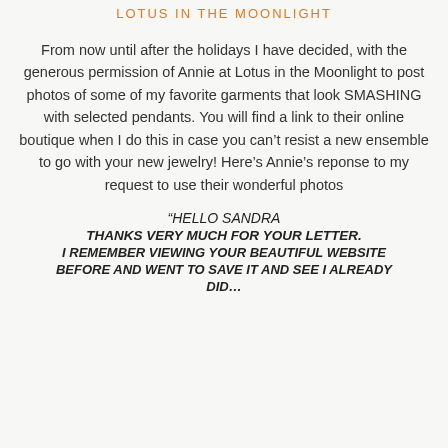LOTUS IN THE MOONLIGHT
From now until after the holidays I have decided, with the generous permission of Annie at Lotus in the Moonlight to post photos of some of my favorite garments that look SMASHING with selected pendants. You will find a link to their online boutique when I do this in case you can't resist a new ensemble to go with your new jewelry! Here's Annie's reponse to my request to use their wonderful photos
“HELLO SANDRA
THANKS VERY MUCH FOR YOUR LETTER.
I REMEMBER VIEWING YOUR BEAUTIFUL WEBSITE BEFORE AND WENT TO SAVE IT AND SEE I ALREADY DID…